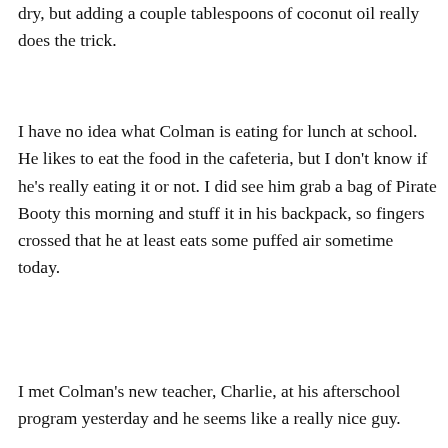dry, but adding a couple tablespoons of coconut oil really does the trick.
I have no idea what Colman is eating for lunch at school. He likes to eat the food in the cafeteria, but I don't know if he's really eating it or not. I did see him grab a bag of Pirate Booty this morning and stuff it in his backpack, so fingers crossed that he at least eats some puffed air sometime today.
I met Colman's new teacher, Charlie, at his afterschool program yesterday and he seems like a really nice guy.
Privacy & Cookies: This site uses cookies. By continuing to use this website, you agree to their use.
To find out more, including how to control cookies, see here: Cookie Policy
Close and accept
alternate arrangements for Colman to go inside if he's too